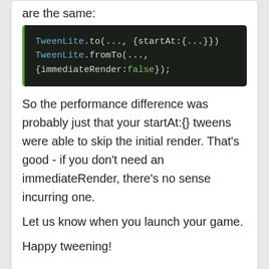are the same:
[Figure (screenshot): Code block on dark background showing: TweenLite.to(..., {startAt:{...}}) and TweenLite.fromTo(..., {immediateRender:false});]
So the performance difference was probably just that your startAt:{} tweens were able to skip the initial render. That's good - if you don't need an immediateRender, there's no sense incurring one.
Let us know when you launch your game.
Happy tweening!
[Figure (photo): Small avatar/profile image thumbnail at bottom of page]